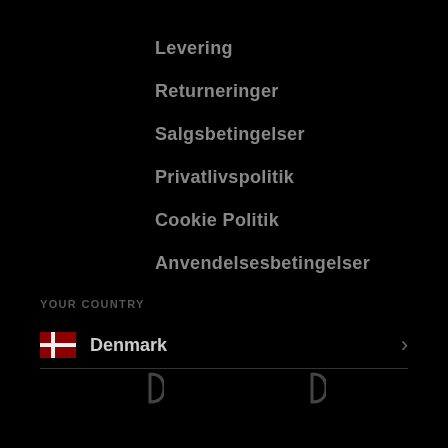Levering
Returneringer
Salgsbetingelser
Privatlivspolitik
Cookie Politik
Anvendelsesbetingelser
YOUR COUNTRY
Denmark
[Figure (illustration): Two partial circular arc shapes at bottom of screen, resembling social media icon outlines]